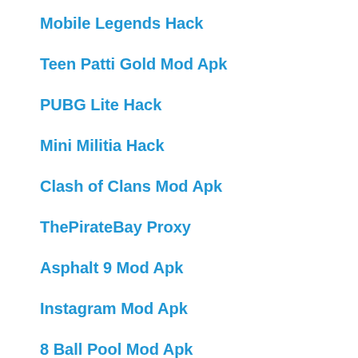Mobile Legends Hack
Teen Patti Gold Mod Apk
PUBG Lite Hack
Mini Militia Hack
Clash of Clans Mod Apk
ThePirateBay Proxy
Asphalt 9 Mod Apk
Instagram Mod Apk
8 Ball Pool Mod Apk
Bitlife Mod Apk
Netflix Mod Apk